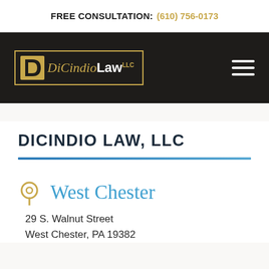FREE CONSULTATION: (610) 756-0173
[Figure (logo): DiCindio Law LLC logo with golden D-shape and text on dark background, with hamburger menu icon]
DICINDIO LAW, LLC
West Chester
29 S. Walnut Street
West Chester, PA 19382